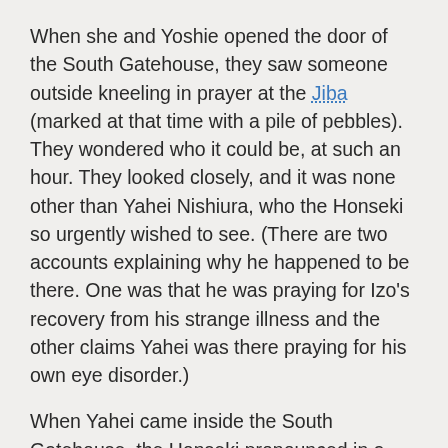When she and Yoshie opened the door of the South Gatehouse, they saw someone outside kneeling in prayer at the Jiba (marked at that time with a pile of pebbles). They wondered who it could be, at such an hour. They looked closely, and it was none other than Yahei Nishiura, who the Honseki so urgently wished to see. (There are two accounts explaining why he happened to be there. One was that he was praying for Izo's recovery from his strange illness and the other claims Yahei was there praying for his own eye disorder.)
When Yahei came inside the South Gatehouse, the Honseki pronounced in a majestic voice,
Sah, sah, I bestow on you the Sazuke.
Yahei was astounded, for this was completely